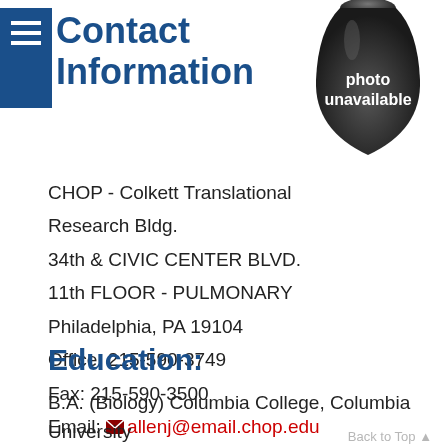Contact Information
[Figure (illustration): Photo unavailable placeholder - dark rounded shape with text 'photo unavailable' in white]
CHOP - Colkett Translational Research Bldg.
34th & CIVIC CENTER BLVD.
11th FLOOR - PULMONARY
Philadelphia, PA 19104
Office: 215-590-3749
Fax: 215-590-3500
Email: allenj@email.chop.edu
Education:
B.A. (Biology) Columbia College, Columbia University New York, New York , 1974. M.D. (Medicine) College Of